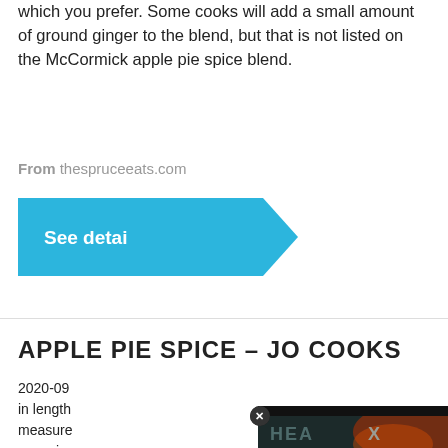which you prefer. Some cooks will add a small amount of ground ginger to the blend, but that is not listed on the McCormick apple pie spice blend.
From thespruceeats.com
[Figure (other): Blue 'See detai' button with arrow shape]
APPLE PIE SPICE - JO COOKS
2020-09 ... in length ... measure ... come in ... grated o ... whole, d ... Ginger –
From jo...
[Figure (other): VDO.AI video overlay showing 'No compatible source was found for this media.' with HEA X branding on dark background with heat map design. Close button with X. Powered By VDO.AI label.]
[Figure (other): Blue 'See d...' button partially visible]